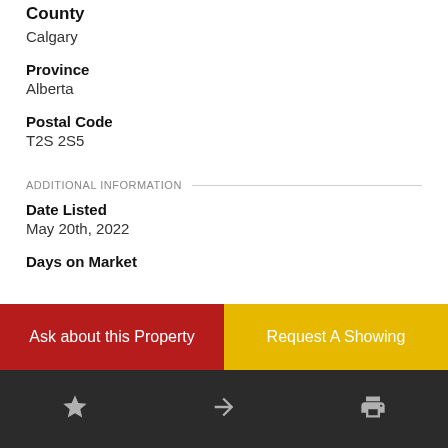County
Calgary
Province
Alberta
Postal Code
T2S 2S5
ADDITIONAL INFORMATION
Date Listed
May 20th, 2022
Days on Market
Ask about this Property
Request A Showing